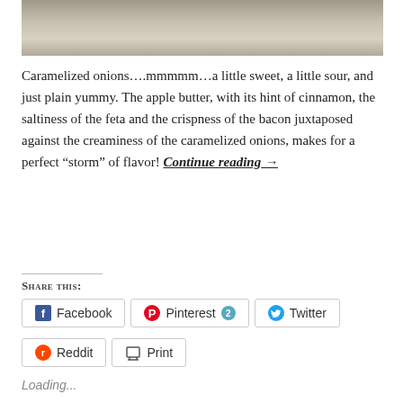[Figure (photo): Top portion of a food photo showing a dish with caramelized onions, partially cropped]
Caramelized onions….mmmmm…a little sweet, a little sour, and just plain yummy.  The apple butter, with its hint of cinnamon, the saltiness of the feta and the crispness of the bacon juxtaposed against the creaminess of the caramelized onions, makes for a perfect “storm” of flavor!  Continue reading →
Share this:
Facebook
Pinterest 2
Twitter
Reddit
Print
Loading...